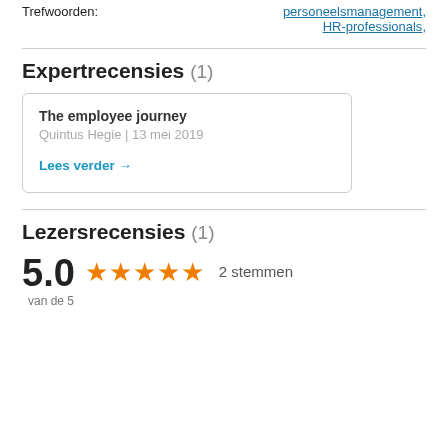ISBN 13:   9789491375781
Trefwoorden:   personeelsmanagement, HR-professionals,
Expertrecensies (1)
The employee journey
Quintus Hegie | 13 mei 2019
Lees verder →
Lezersrecensies (1)
5.0  ★★★★★  2 stemmen
van de 5